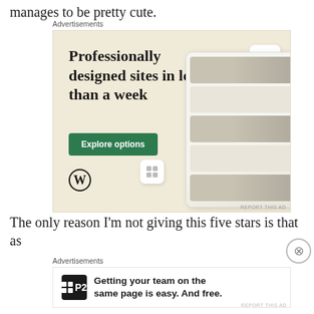manages to be pretty cute.
[Figure (other): WordPress advertisement: 'Professionally designed sites in less than a week' with Explore options button, WordPress logo, and website/app mockup imagery on beige background]
The only reason I’m not giving this five stars is that as
[Figure (other): P2 advertisement: 'Getting your team on the same page is easy. And free.' with P2 logo]